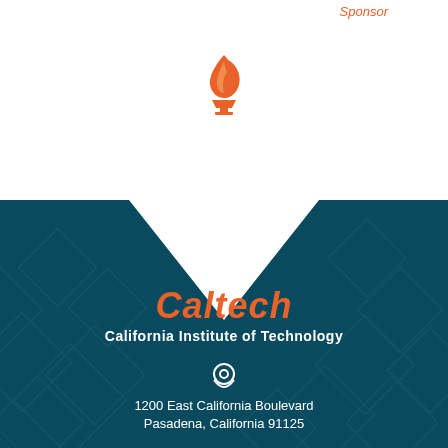Sponsor
[Figure (logo): Caltech flame torch logo in orange, above teal diamond-pattern background section]
Caltech
California Institute of Technology
1200 East California Boulevard
Pasadena, California 91125